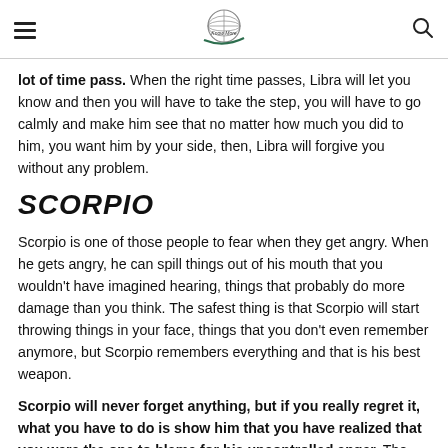[hamburger menu] [logo: Know More] [search icon]
lot of time pass. When the right time passes, Libra will let you know and then you will have to take the step, you will have to go calmly and make him see that no matter how much you did to him, you want him by your side, then, Libra will forgive you without any problem.
SCORPIO
Scorpio is one of those people to fear when they get angry. When he gets angry, he can spill things out of his mouth that you wouldn't have imagined hearing, things that probably do more damage than you think. The safest thing is that Scorpio will start throwing things in your face, things that you don't even remember anymore, but Scorpio remembers everything and that is his best weapon.
Scorpio will never forget anything, but if you really regret it, what you have to do is show him that you have realized that you were the one to blame for his uncontrolled anger. The